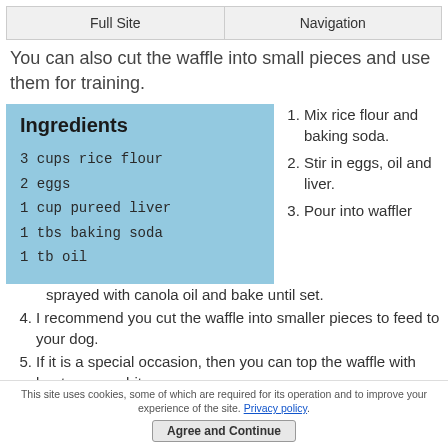Full Site | Navigation
You can also cut the waffle into small pieces and use them for training.
Ingredients
3 cups rice flour
2 eggs
1 cup pureed liver
1 tbs baking soda
1 tb oil
1. Mix rice flour and baking soda.
2. Stir in eggs, oil and liver.
3. Pour into waffler sprayed with canola oil and bake until set.
4. I recommend you cut the waffle into smaller pieces to feed to your dog.
5. If it is a special occasion, then you can top the waffle with beaten egg whites
This site uses cookies, some of which are required for its operation and to improve your experience of the site. Privacy policy.
Agree and Continue